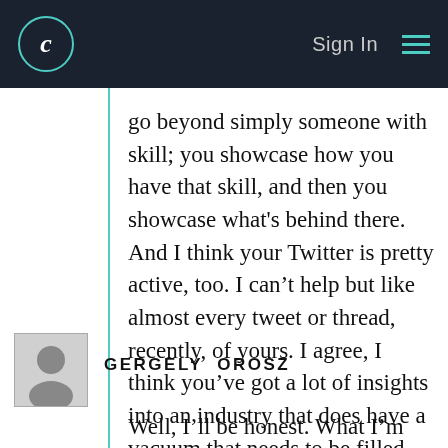C  Sign In ≡
go beyond simply someone with skill; you showcase how you have that skill, and then you showcase what's behind there. And I think your Twitter is pretty active, too. I can't help but like almost every tweet or thread, recently, of yours. I agree, I think you've got a lot of insights into an industry that does have a vacuum that needs to be filled, and I'm happy to see you out there filling that void.
GERGELY OROSZ
Well, I'll be honest. What I'm seeing – and this is my example, as well. I became an engineering manager at Uber after I was an engineer for like 8 or 9 (something like that) years. And I think Uber was a great place, in